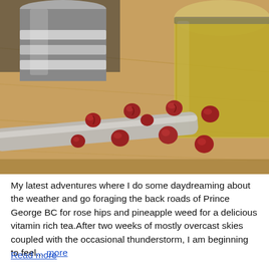[Figure (photo): A close-up photograph of dried rose hips scattered on a wooden cutting board, alongside a metal French press and a glass jar of golden tea or oil. A metal spoon/strainer handle is visible in the foreground.]
My latest adventures where I do some daydreaming about the weather and go foraging the back roads of Prince George BC for rose hips and pineapple weed for a delicious vitamin rich tea.After two weeks of mostly overcast skies coupled with the occasional thunderstorm, I am beginning to feel... more
Read more